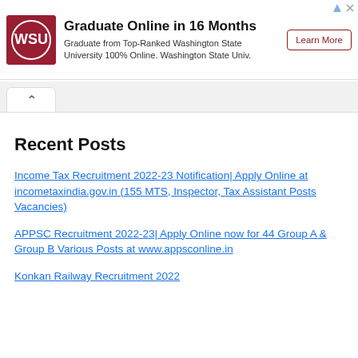[Figure (infographic): Advertisement banner for Washington State University online graduate program. Shows WSU logo, heading 'Graduate Online in 16 Months', description text, and a 'Learn More' button.]
Recent Posts
Income Tax Recruitment 2022-23 Notification| Apply Online at incometaxindia.gov.in (155 MTS, Inspector, Tax Assistant Posts Vacancies)
APPSC Recruitment 2022-23| Apply Online now for 44 Group A & Group B Various Posts at www.appsconline.in
Konkan Railway Recruitment 2022